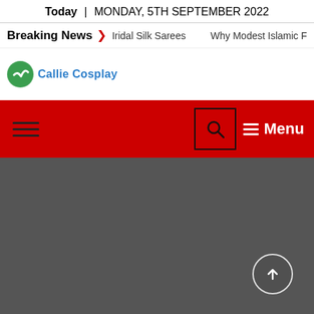Today | MONDAY, 5TH SEPTEMBER 2022
Breaking News > Iridal Silk Sarees    Why Modest Islamic F
[Figure (logo): Callie Cosplay logo — green circle icon with white checkmark/leaf, followed by blue text 'Callie Cosplay']
[Figure (screenshot): Red navigation bar with hamburger menu icon on left, search box (magnifying glass in black square) and Menu button on right]
[Figure (photo): Dark gray area filling the lower portion of the page with a scroll-to-top circular button (upward arrow) in the lower right]